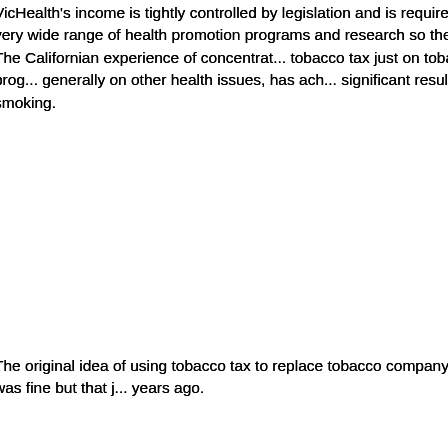VicHealth's income is tightly controlled by legislation and is required to finance a very wide range of health promotion programs and research so there is only s... The Californian experience of concentrat... tobacco tax just on tobacco control prog... generally on other health issues, has ach... significant results in reducing smoking.
The original idea of using tobacco tax to... company sponsorship was fine but that j... years ago.
With hindsight, there should have been a... Act so that after the buyout of tobacco sp... achieved, the funds were spent on tobac...
While the initial sponsorship buyout in Vi... message, other states managed to pass... tobacco advertising and sponsorship with... health dollars into sports organisations.
Indeed, Australia as a whole banned toba... sponsorship (with limited exceptions) wit... buyout.
5. Your experience in Victoria is comin...